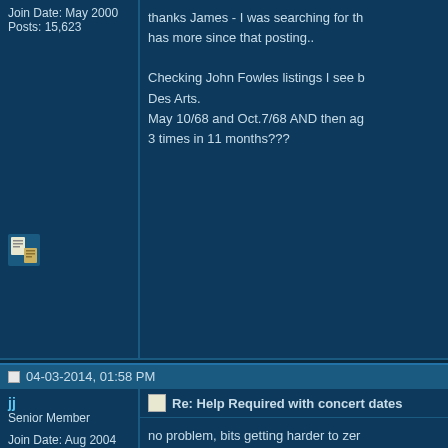Join Date: May 2000
Posts: 15,623
thanks James - I was searching for th... has more since that posting..

Checking John Fowles listings I see b... Des Arts.
May 10/68 and Oct.7/68 AND then ag... 3 times in 11 months???
04-03-2014, 01:58 PM
jj
Senior Member
Join Date: Aug 2004
Location: ontario, canada
Posts: 5,269
Re: Help Required with concert dates
no problem, bits getting harder to zer... was John, it helped filter the respons...

Brian, you mean the "nod" stuff like h...

https://www.youtube.com/watch?v=jb...
04-03-2014, 07:42 PM
Unsettled 1
Senior Member
Join Date: Dec 2008
Posts: 151
Re: Help Required with concert dates
No JJ. Head tilted back and side to s...